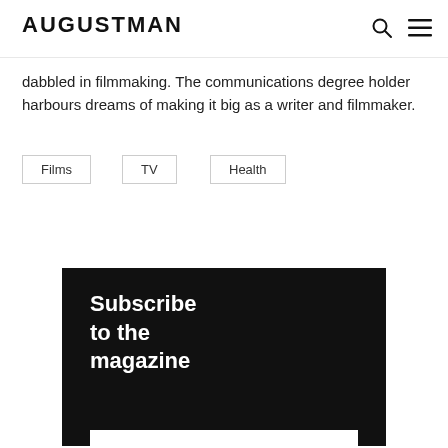AUGUSTMAN
dabbled in filmmaking. The communications degree holder harbours dreams of making it big as a writer and filmmaker.
Films
TV
Health
[Figure (other): Subscribe to the magazine promotional banner with dark background and white bold text]
Subscribe to the magazine